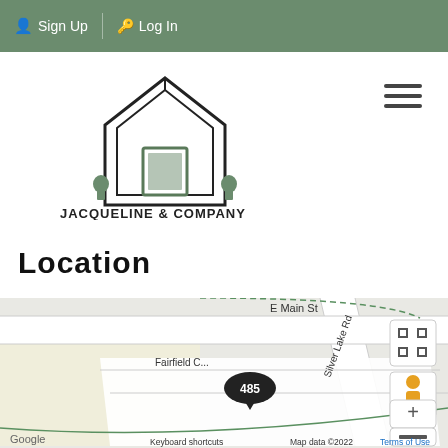Sign Up   Log In
[Figure (logo): Jacqueline & Company logo — house outline with plants, text JACQUELINE & COMPANY YOUR HOUSE PROFESSIONAL]
[Figure (other): Hamburger menu icon (three horizontal lines)]
Location
[Figure (map): Google Maps screenshot showing 485 Fairfield Ct near E Main St and Silver Lake Rd. Map controls include fullscreen, Street View person icon, zoom in/out buttons. Bottom shows Google logo, Keyboard shortcuts, Map data ©2022, Terms of Use.]